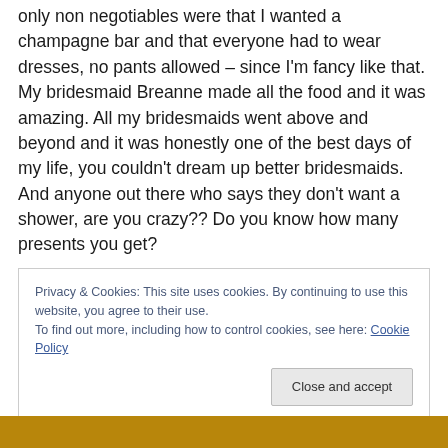only non negotiables were that I wanted a champagne bar and that everyone had to wear dresses, no pants allowed – since I'm fancy like that. My bridesmaid Breanne made all the food and it was amazing. All my bridesmaids went above and beyond and it was honestly one of the best days of my life, you couldn't dream up better bridesmaids. And anyone out there who says they don't want a shower, are you crazy?? Do you know how many presents you get?
Privacy & Cookies: This site uses cookies. By continuing to use this website, you agree to their use.
To find out more, including how to control cookies, see here: Cookie Policy
[Figure (photo): Bottom strip of a photo showing warm tones, partially visible]